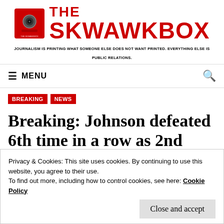[Figure (logo): The Skwawkbox logo: red icon of a speaker/door unit on the left, bold red text 'THE SKWAWKBOX' on the right, with tagline below]
JOURNALISM IS PRINTING WHAT SOMEONE ELSE DOES NOT WANT PRINTED. EVERYTHING ELSE IS PUBLIC RELATIONS.
≡ MENU
BREAKING  NEWS
Breaking: Johnson defeated 6th time in a row as 2nd FTPA attempt
Privacy & Cookies: This site uses cookies. By continuing to use this website, you agree to their use.
To find out more, including how to control cookies, see here: Cookie Policy
Close and accept